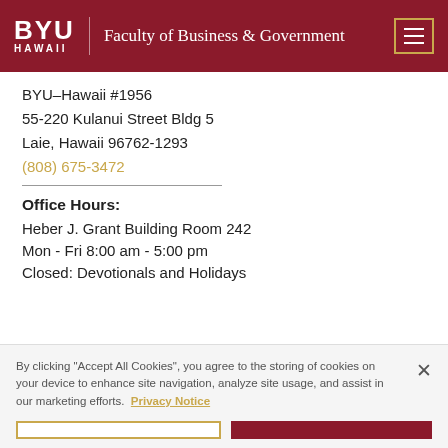BYU HAWAII — Faculty of Business & Government
BYU–Hawaii #1956
55-220 Kulanui Street Bldg 5
Laie, Hawaii 96762-1293
(808) 675-3472
Office Hours:
Heber J. Grant Building Room 242
Mon - Fri 8:00 am - 5:00 pm
Closed: Devotionals and Holidays
By clicking "Accept All Cookies", you agree to the storing of cookies on your device to enhance site navigation, analyze site usage, and assist in our marketing efforts. Privacy Notice